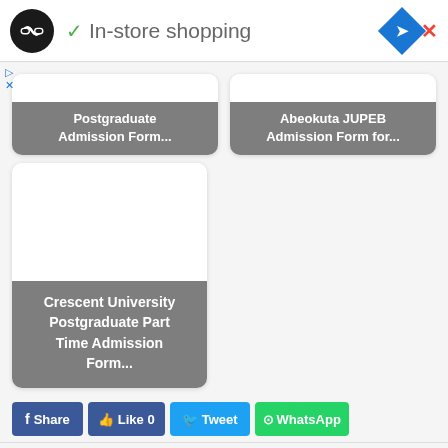[Figure (screenshot): Ad bar with loop logo, green checkmark, 'In-store shopping' text, and blue diamond close button]
[Figure (screenshot): Two partially visible cards: 'Postgraduate Admission Form...' and 'Abeokuta JUPEB Admission Form for...']
[Figure (screenshot): Full card: 'Crescent University Postgraduate Part Time Admission Form...']
[Figure (screenshot): Social share buttons: Share, Like 0, Tweet, WhatsApp]
[Figure (screenshot): Second ad bar with loop logo, green checkmark, 'In-store shopping' text, and blue diamond close button]